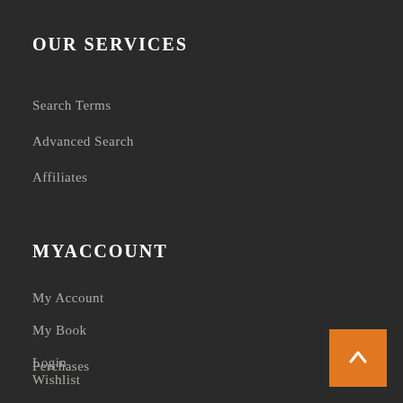OUR SERVICES
Search Terms
Advanced Search
Affiliates
MYACCOUNT
My Account
My Book
Login
Wishlist
Perchases
[Figure (other): Orange back-to-top button with upward arrow in bottom-right corner]